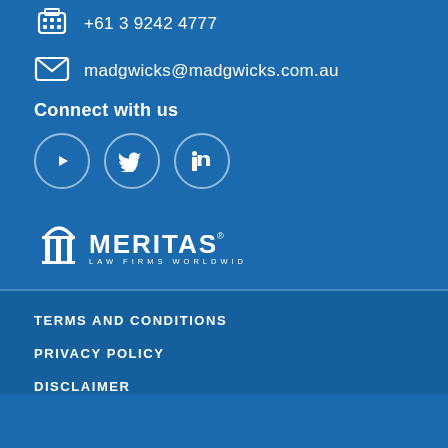+61 3 9242 4777
madgwicks@madgwicks.com.au
Connect with us
[Figure (logo): Social media icons: YouTube, Twitter, LinkedIn in circular outlines]
[Figure (logo): Meritas Law Firms Worldwide logo in white]
TERMS AND CONDITIONS
PRIVACY POLICY
DISCLAIMER